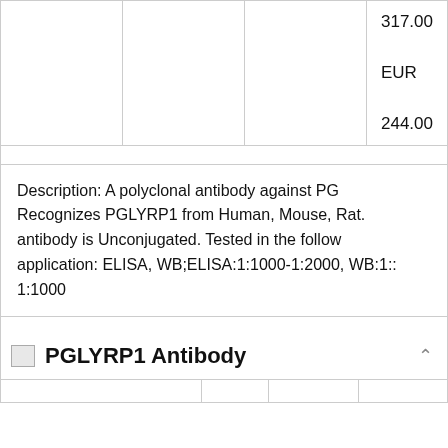|  |  |  | 317.00
EUR
244.00 |
Description: A polyclonal antibody against PG Recognizes PGLYRP1 from Human, Mouse, Rat. antibody is Unconjugated. Tested in the following application: ELISA, WB;ELISA:1:1000-1:2000, WB:1:: 1:1000
PGLYRP1 Antibody
|  |  |  |  |